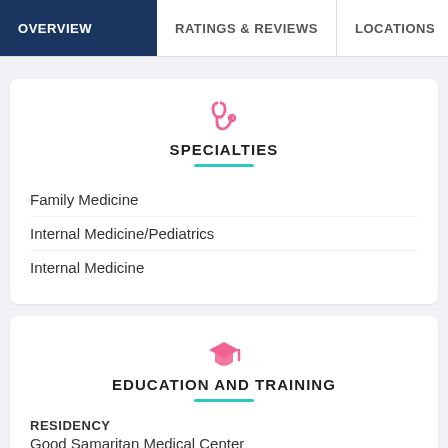OVERVIEW | RATINGS & REVIEWS | LOCATIONS | EX…
SPECIALTIES
Family Medicine
Internal Medicine/Pediatrics
Internal Medicine
EDUCATION AND TRAINING
RESIDENCY
Good Samaritan Medical Center